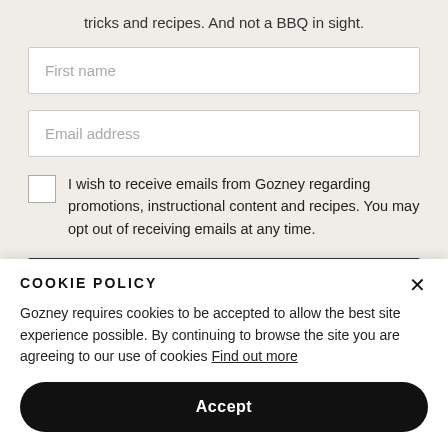tricks and recipes. And not a BBQ in sight.
First name
Email address
I wish to receive emails from Gozney regarding promotions, instructional content and recipes. You may opt out of receiving emails at any time.
COOKIE POLICY
Gozney requires cookies to be accepted to allow the best site experience possible. By continuing to browse the site you are agreeing to our use of cookies Find out more
Accept